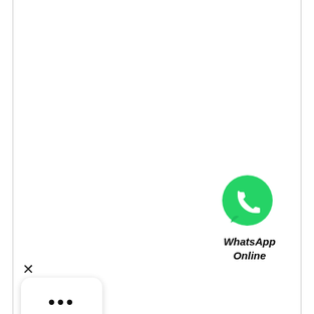[Figure (logo): WhatsApp green circle logo with white phone handset icon]
WhatsApp Online
×
[Figure (other): White rounded rectangle with three black dots (loading/typing indicator)]
G 20X3-47 G 20X3-47 Bronze Filled Guide Rings
Chat now